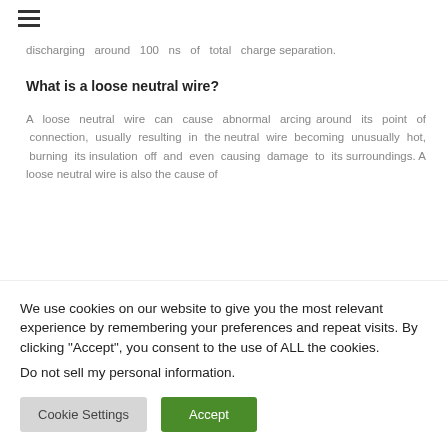discharging around 100 ns of total charge separation.
What is a loose neutral wire?
A loose neutral wire can cause abnormal arcing around its point of connection, usually resulting in the neutral wire becoming unusually hot, burning its insulation off and even causing damage to its surroundings. A loose neutral wire is also the cause of
We use cookies on our website to give you the most relevant experience by remembering your preferences and repeat visits. By clicking "Accept", you consent to the use of ALL the cookies.
Do not sell my personal information.